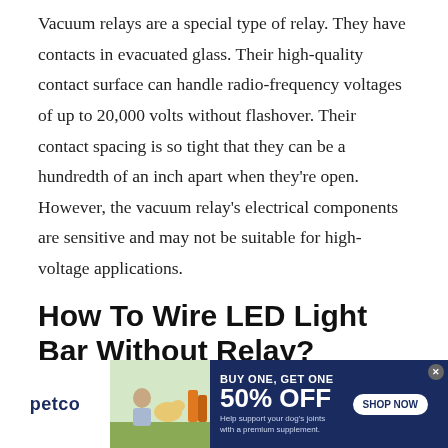Vacuum relays are a special type of relay. They have contacts in evacuated glass. Their high-quality contact surface can handle radio-frequency voltages of up to 20,000 volts without flashover. Their contact spacing is so tight that they can be a hundredth of an inch apart when they're open. However, the vacuum relay's electrical components are sensitive and may not be suitable for high-voltage applications.
How To Wire LED Light Bar Without Relay?
If you are considering installing an LED light bar in your
[Figure (other): Petco advertisement banner: BUY ONE, GET ONE 50% OFF on dog joint supplements. Shows a woman with a golden retriever dog and product bottles. Includes SHOP NOW button.]